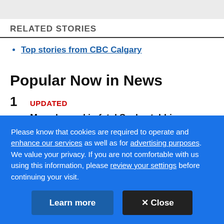RELATED STORIES
Top stories from CBC Calgary
Popular Now in News
1  UPDATED
Man charged in fatal Sask. stabbings found dead, 2nd
Please know that cookies are required to operate and enhance our services as well as for advertising purposes. We value your privacy. If you are not comfortable with us using this information, please review your settings before continuing your visit.